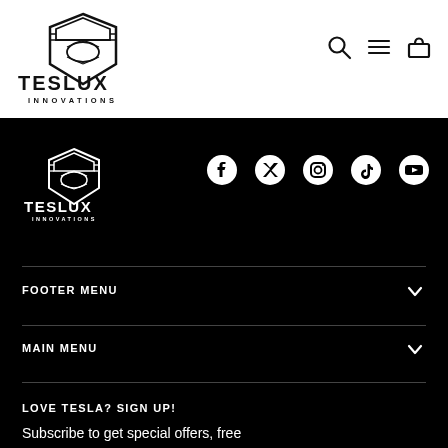[Figure (logo): Teslux Innovations logo - black on white, header]
[Figure (other): Search, navigation menu, and shopping bag icons in header]
[Figure (logo): Teslux Innovations logo - white on black, footer]
[Figure (other): Social media icons: Facebook, Twitter, Instagram, TikTok, YouTube]
FOOTER MENU
MAIN MENU
LOVE TESLA? SIGN UP!
Subscribe to get special offers, free